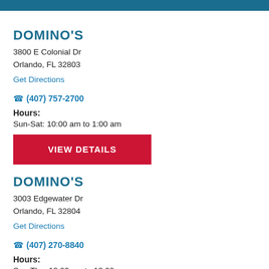DOMINO'S
3800 E Colonial Dr
Orlando, FL 32803
Get Directions
(407) 757-2700
Hours:
Sun-Sat: 10:00 am to 1:00 am
VIEW DETAILS
DOMINO'S
3003 Edgewater Dr
Orlando, FL 32804
Get Directions
(407) 270-8840
Hours:
Sun-Thu: 10:00 am to 12:00 am
Fri-Sat: 10:00 am to 1:00 am